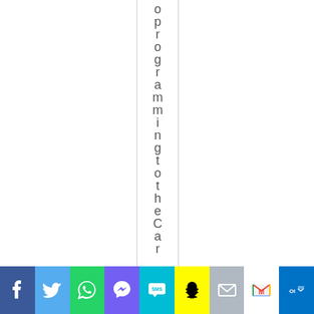o p r o g r a m m i n g t o t h e C a r
[Figure (screenshot): Social media sharing bar with buttons for Facebook, Twitter, WhatsApp, Viber, SMS, Snapchat, Email, Gmail, and Outlook]